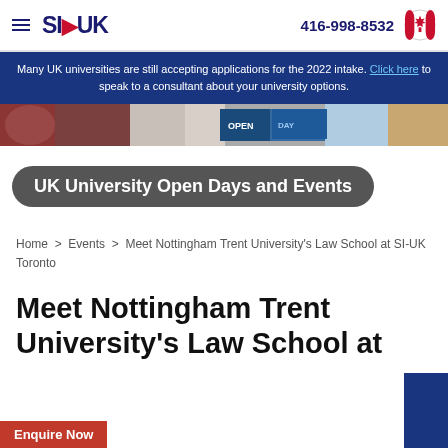SI-UK | 416-998-8532
Many UK universities are still accepting applications for the 2022 intake. Click here to speak to a consultant about your university options.
[Figure (photo): Photo strip showing a university open day or fair with people and banners.]
UK University Open Days and Events
Home > Events > Meet Nottingham Trent University's Law School at SI-UK Toronto
Meet Nottingham Trent University's Law School at SI-UK Toronto